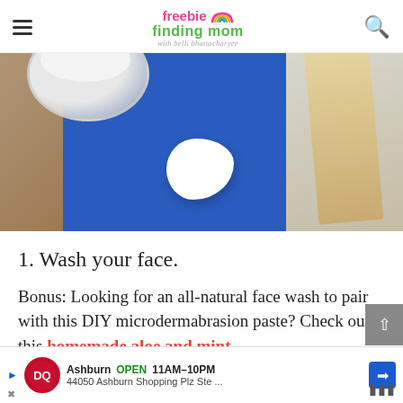freebie finding mom with belli bhattacharyee
[Figure (photo): Close-up photo of a white soap or lotion bar on a blue fabric cloth, with a glass bowl containing white substance and a wooden spatula in the background.]
1. Wash your face.
Bonus: Looking for an all-natural face wash to pair with this DIY microdermabrasion paste? Check out this homemade aloe and mint fo...
[Figure (other): Dairy Queen advertisement banner: Ashburn OPEN 11AM-10PM, 44050 Ashburn Shopping Plz Ste ...]